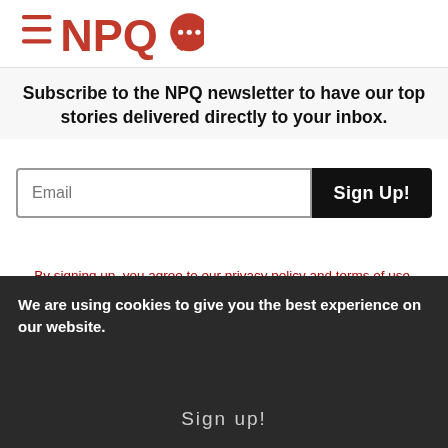[Figure (logo): NPQ (Nonprofit Quarterly) logo with hamburger menu icon (three red horizontal lines) and red speech bubble with dots]
Subscribe to the NPQ newsletter to have our top stories delivered directly to your inbox.
Email
Sign Up!
By signing up, you agree to our privacy policy and terms of use, and to receive messages from NPQ and our partners.
We are using cookies to give you the best experience on our website.
Sign up!